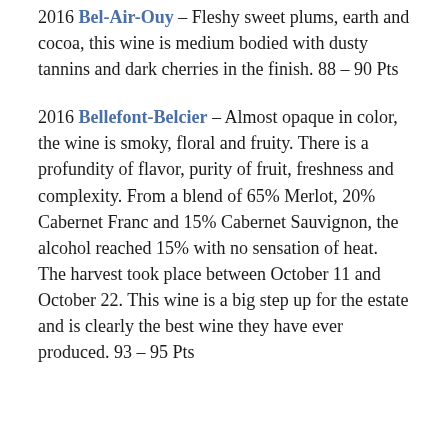2016 Bel-Air-Ouy – Fleshy sweet plums, earth and cocoa, this wine is medium bodied with dusty tannins and dark cherries in the finish. 88 – 90 Pts
2016 Bellefont-Belcier – Almost opaque in color, the wine is smoky, floral and fruity. There is a profundity of flavor, purity of fruit, freshness and complexity. From a blend of 65% Merlot, 20% Cabernet Franc and 15% Cabernet Sauvignon, the alcohol reached 15% with no sensation of heat. The harvest took place between October 11 and October 22. This wine is a big step up for the estate and is clearly the best wine they have ever produced. 93 – 95 Pts